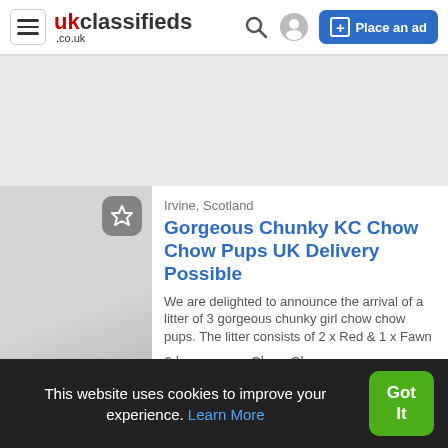ukclassifieds .co.uk | Search | User | Place an ad
[Figure (other): Grey advertisement banner area]
Irvine, Scotland
Gorgeous Chunky KC Chow Chow Pups UK Delivery Possible
We are delighted to announce the arrival of a litter of 3 gorgeous chunky girl chow chow pups. The litter consists of 2 x Red & 1 x Fawn
6 hours ago • Chow Chow
This website uses cookies to improve your experience. Learn More